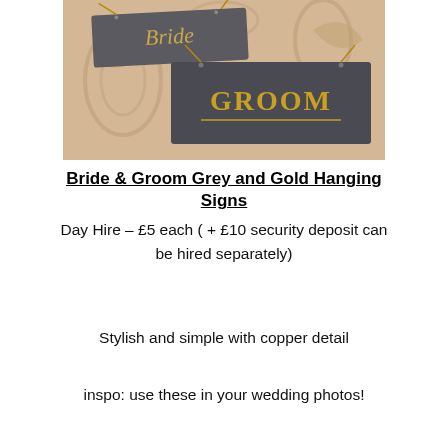[Figure (photo): Photo of two grey hanging signs with gold text reading 'BRIDE' and 'GROOM', hung with copper wire on a floral beige background.]
Bride & Groom Grey and Gold Hanging Signs
Day Hire – £5 each ( + £10 security deposit can be hired separately)
Stylish and simple with copper detail
inspo: use these in your wedding photos!